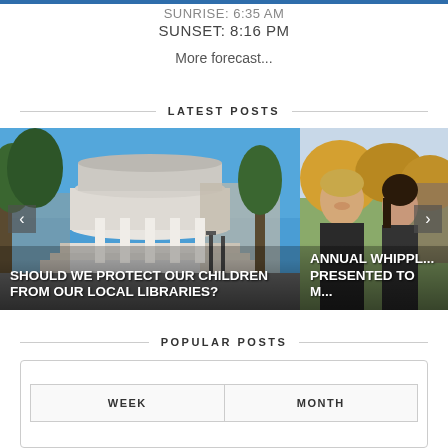SUNRISE: 6:35 AM
SUNSET: 8:16 PM
More forecast...
LATEST POSTS
[Figure (photo): Library building with columns and trees, white rotunda structure against blue sky. Overlay text: SHOULD WE PROTECT OUR CHILDREN FROM OUR LOCAL LIBRARIES?]
[Figure (photo): Two people (man and woman) outdoors in autumn. Partial overlay text: ANNUAL WHIPPL... PRESENTED TO M...]
POPULAR POSTS
| WEEK | MONTH |
| --- | --- |